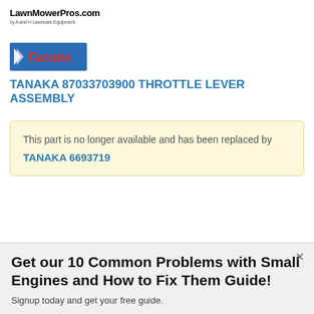LawnMowerPros.com
by A and H Lawncare Equipment
[Figure (logo): Tanaka brand logo — white flag icon on left, red italic 'Tanaka' lettering on blue rectangle background]
TANAKA 87033703900 THROTTLE LEVER ASSEMBLY
This part is no longer available and has been replaced by TANAKA 6693719
Get our 10 Common Problems with Small Engines and How to Fix Them Guide!
Signup today and get your free guide.